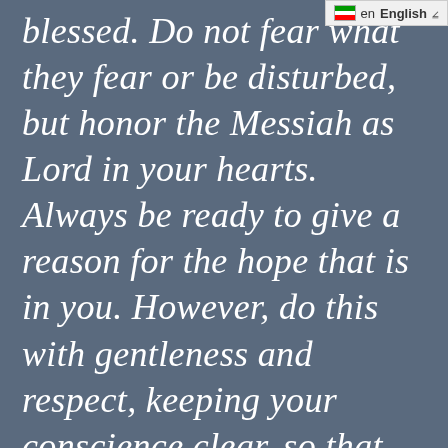[Figure (screenshot): UI language selector bar showing a flag icon, 'en English' text, and a dropdown chevron]
blessed. Do not fear what they fear or be disturbed, but honor the Messiah as Lord in your hearts. Always be ready to give a reason for the hope that is in you. However, do this with gentleness and respect, keeping your conscience clear, so that when you are accused, those